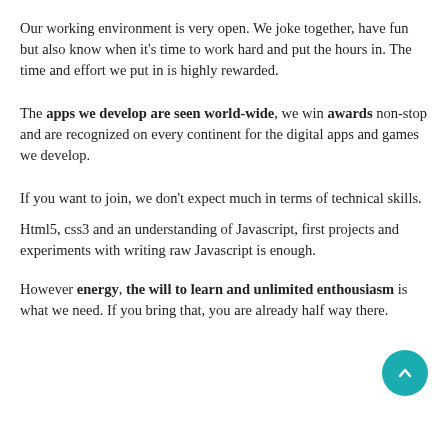Our working environment is very open. We joke together, have fun but also know when it's time to work hard and put the hours in. The time and effort we put in is highly rewarded.
The apps we develop are seen world-wide, we win awards non-stop and are recognized on every continent for the digital apps and games we develop.
If you want to join, we don't expect much in terms of technical skills.
Html5, css3 and an understanding of Javascript, first projects and experiments with writing raw Javascript is enough.
However energy, the will to learn and unlimited enthousiasm is what we need. If you bring that, you are already half way there.